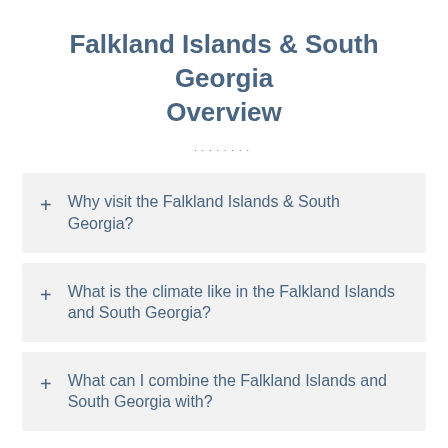Falkland Islands & South Georgia Overview
+ Why visit the Falkland Islands & South Georgia?
+ What is the climate like in the Falkland Islands and South Georgia?
+ What can I combine the Falkland Islands and South Georgia with?